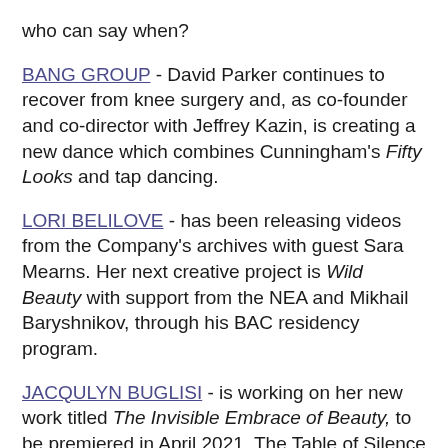who can say when?
BANG GROUP - David Parker continues to recover from knee surgery and, as co-founder and co-director with Jeffrey Kazin, is creating a new dance which combines Cunningham's Fifty Looks and tap dancing.
LORI BELILOVE - has been releasing videos from the Company's archives with guest Sara Mearns. Her next creative project is Wild Beauty with support from the NEA and Mikhail Baryshnikov, through his BAC residency program.
JACQULYN BUGLISI - is working on her new work titled The Invisible Embrace of Beauty, to be premiered in April 2021. The Table of Silence Project Meditation Variation is online every Sunday at noon, launching the 10th anniversary of The Table of Silence Project 9/11. The page continues below...